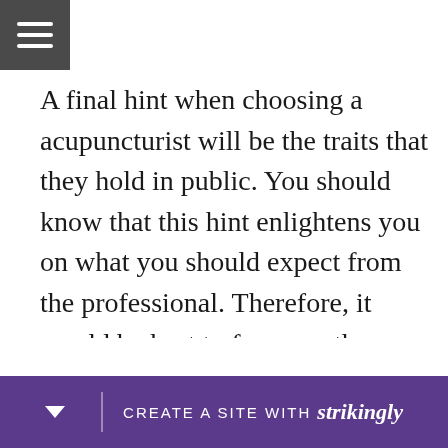[hamburger menu icon]
A final hint when choosing a acupuncturist will be the traits that they hold in public. You should know that this hint enlightens you on what you should expect from the professional. Therefore, it would be best to focus on the reviews of several experts. From the opinions of the past clients on the quality of acupuncture treatment offered to them, you’ll know whether or not the expert is the best for you to go for. Quality acu… n be a…
CREATE A SITE WITH strikingly